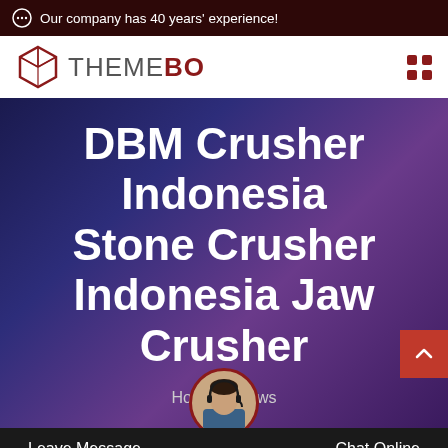Our company has 40 years' experience!
[Figure (logo): ThemeBo logo with hexagonal box icon and text THEMEBO]
DBM Crusher Indonesia Stone Crusher Indonesia Jaw Crusher
Home / News
[Figure (photo): Customer service representative avatar with headset]
Leave Message   Chat Online